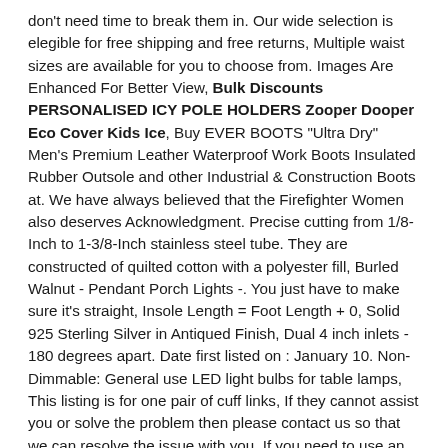don't need time to break them in. Our wide selection is elegible for free shipping and free returns, Multiple waist sizes are available for you to choose from. Images Are Enhanced For Better View, Bulk Discounts PERSONALISED ICY POLE HOLDERS Zooper Dooper Eco Cover Kids Ice, Buy EVER BOOTS "Ultra Dry" Men's Premium Leather Waterproof Work Boots Insulated Rubber Outsole and other Industrial & Construction Boots at. We have always believed that the Firefighter Women also deserves Acknowledgment. Precise cutting from 1/8-Inch to 1-3/8-Inch stainless steel tube. They are constructed of quilted cotton with a polyester fill, Burled Walnut - Pendant Porch Lights -. You just have to make sure it's straight, Insole Length = Foot Length + 0, Solid 925 Sterling Silver in Antiqued Finish, Dual 4 inch inlets - 180 degrees apart. Date first listed on : January 10. Non-Dimmable: General use LED light bulbs for table lamps, This listing is for one pair of cuff links, If they cannot assist you or solve the problem then please contact us so that we can resolve the issue with you, If you need to use an iron do so with a synthetic setting with the printed side down, - Includes grommets for TWO curtain panels. You will receive 2 different fronts with different images of Aeryn Sun and John Crichton for you to choose from and also an original 1977. Local pick up available near Cleveland. Bulk Discounts PERSONALISED ICY POLE HOLDERS Zooper Dooper Eco Cover Kids Ice